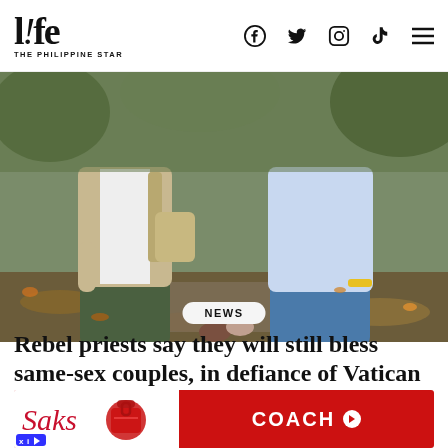l!fe THE PHILIPPINE STAR
[Figure (photo): Two men holding hands from behind, walking outdoors. One wears a beige blazer and dark green pants, the other a light blue shirt and jeans with a yellow wristband. Autumn leaves on the ground.]
NEWS
Rebel priests say they will still bless same-sex couples, in defiance of Vatican
MARCH 17, 2021
[Figure (other): Saks Fifth Avenue advertisement featuring a red Coach handbag on a red background with 'COACH' text and a right arrow.]